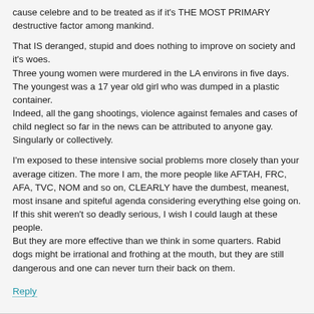cause celebre and to be treated as if it's THE MOST PRIMARY destructive factor among mankind.
That IS deranged, stupid and does nothing to improve on society and it's woes.
Three young women were murdered in the LA environs in five days. The youngest was a 17 year old girl who was dumped in a plastic container.
Indeed, all the gang shootings, violence against females and cases of child neglect so far in the news can be attributed to anyone gay. Singularly or collectively.
I'm exposed to these intensive social problems more closely than your average citizen. The more I am, the more people like AFTAH, FRC, AFA, TVC, NOM and so on, CLEARLY have the dumbest, meanest, most insane and spiteful agenda considering everything else going on.
If this shit weren't so deadly serious, I wish I could laugh at these people.
But they are more effective than we think in some quarters. Rabid dogs might be irrational and frothing at the mouth, but they are still dangerous and one can never turn their back on them.
Reply